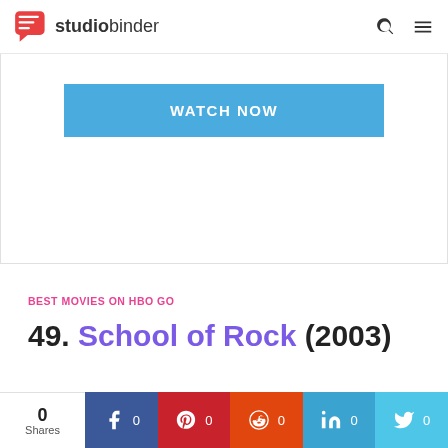studiobinder
[Figure (screenshot): WATCH NOW button in blue]
BEST MOVIES ON HBO GO
49. School of Rock (2003)
[Figure (infographic): Social share bar with 0 shares: Facebook 0, Pinterest 0, Reddit 0, LinkedIn 0, Twitter 0]